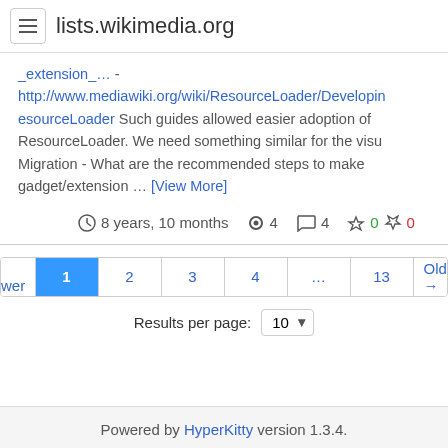lists.wikimedia.org
_extension_... - http://www.mediawiki.org/wiki/ResourceLoader/Developing_esourceLoader Such guides allowed easier adoption of ResourceLoader. We need something similar for the visual Migration - What are the recommended steps to make gadget/extension ... [View More]
8 years, 10 months  4  4  0  0
← Newer 1 2 3 4 ... 13 Older →
Results per page: 10
Powered by HyperKitty version 1.3.4.